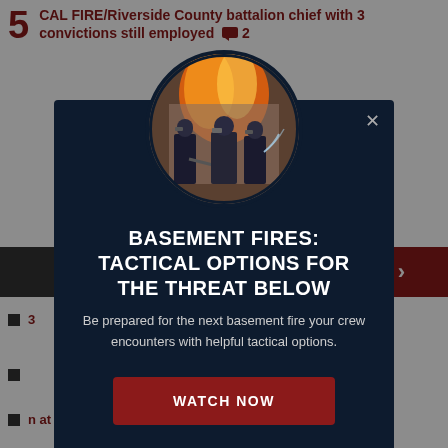5 CAL FIRE/Riverside County battalion chief with 3 convictions still employed 💬 2
[Figure (screenshot): Modal overlay on a news website showing a promotional popup for a video about basement fires. Contains a circular firefighter photo, heading 'BASEMENT FIRES: TACTICAL OPTIONS FOR THE THREAT BELOW', descriptive text, and a 'WATCH NOW' button on dark navy background.]
BASEMENT FIRES: TACTICAL OPTIONS FOR THE THREAT BELOW
Be prepared for the next basement fire your crew encounters with helpful tactical options.
WATCH NOW